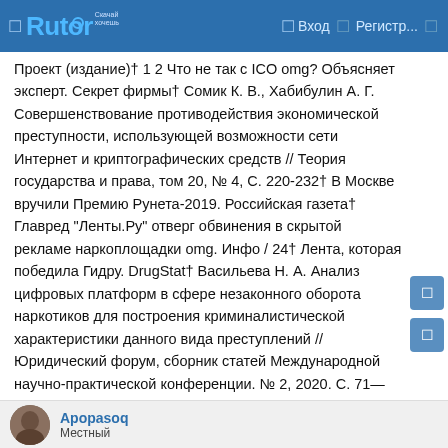Rutor — Вход — Регистр...
Проект (издание)† 1 2 Что не так с ICO omg? Объясняет эксперт. Секрет фирмы† Сомик К. В., Хабибулин А. Г. Совершенствование противодействия экономической преступности, использующей возможности сети Интернет и криптографических средств // Теория государства и права, том 20, № 4, С. 220-232† В Москве вручили Премию Рунета-2019. Российская газета† Главред "Ленты.Ру" отверг обвинения в скрытой рекламе наркоплощадки omg. Инфо / 24† Лента, которая победила Гидру. DrugStat† Васильева Н. А. Анализ цифровых платформ в сфере незаконного оборота наркотиков для построения криминалистической характеристики данного вида преступлений // Юридический форум, сборник статей Международной научно-практической конференции. № 2, 2020. С. 71—76.СсылкиИсточник — https://ru.wikipedia.org/w/index.php?title=ОМГ_(даркнет-рынок)&oldid=121322914
Apopasoq
Местный